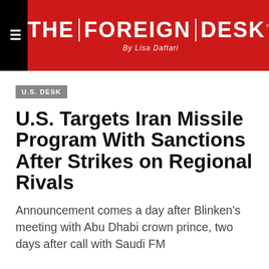THE FOREIGN DESK By Lisa Daftari
U.S. DESK
U.S. Targets Iran Missile Program With Sanctions After Strikes on Regional Rivals
Announcement comes a day after Blinken's meeting with Abu Dhabi crown prince, two days after call with Saudi FM